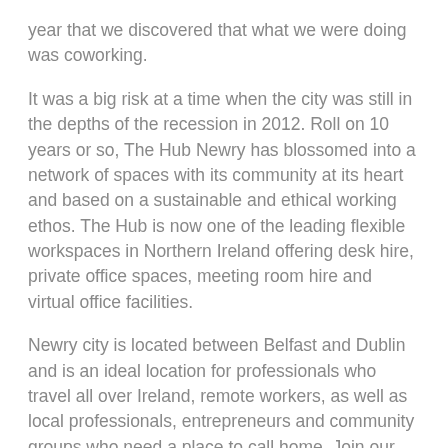year that we discovered that what we were doing was coworking.
It was a big risk at a time when the city was still in the depths of the recession in 2012. Roll on 10 years or so, The Hub Newry has blossomed into a network of spaces with its community at its heart and based on a sustainable and ethical working ethos. The Hub is now one of the leading flexible workspaces in Northern Ireland offering desk hire, private office spaces, meeting room hire and virtual office facilities.
Newry city is located between Belfast and Dublin and is an ideal location for professionals who travel all over Ireland, remote workers, as well as local professionals, entrepreneurs and community groups who need a place to call home. Join our community – we have a diverse range of people and services that you will truly benefit from!